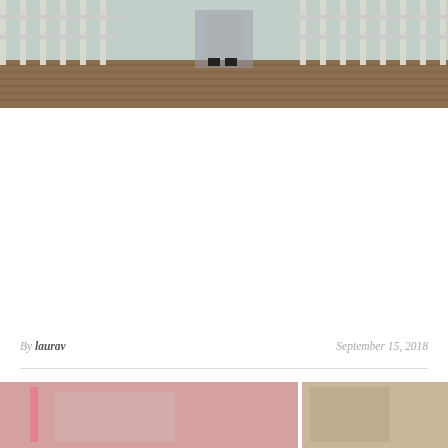[Figure (photo): Top portion of a photo showing a person standing on a wooden boardwalk or pier with white railings, wearing a patterned dress and black shoes. Outdoor scene.]
By laurav    September 15, 2018
[Figure (photo): Bottom portion showing partial view of another photo, appears to be an outdoor scene with pink elements visible.]